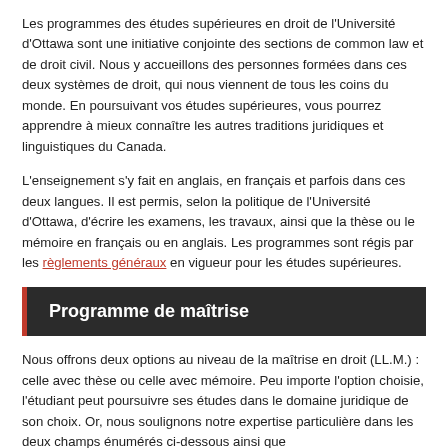Les programmes des études supérieures en droit de l'Université d'Ottawa sont une initiative conjointe des sections de common law et de droit civil. Nous y accueillons des personnes formées dans ces deux systèmes de droit, qui nous viennent de tous les coins du monde. En poursuivant vos études supérieures, vous pourrez apprendre à mieux connaître les autres traditions juridiques et linguistiques du Canada.
L'enseignement s'y fait en anglais, en français et parfois dans ces deux langues. Il est permis, selon la politique de l'Université d'Ottawa, d'écrire les examens, les travaux, ainsi que la thèse ou le mémoire en français ou en anglais. Les programmes sont régis par les règlements généraux en vigueur pour les études supérieures.
Programme de maîtrise
Nous offrons deux options au niveau de la maîtrise en droit (LL.M.) : celle avec thèse ou celle avec mémoire. Peu importe l'option choisie, l'étudiant peut poursuivre ses études dans le domaine juridique de son choix. Or, nous soulignons notre expertise particulière dans les deux champs énumérés ci-dessous ainsi que